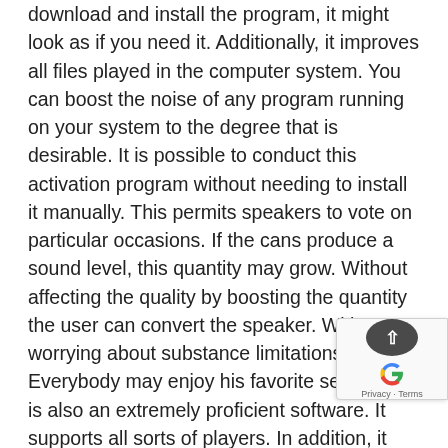download and install the program, it might look as if you need it. Additionally, it improves all files played in the computer system. You can boost the noise of any program running on your system to the degree that is desirable. It is possible to conduct this activation program without needing to install it manually. This permits speakers to vote on particular occasions. If the cans produce a sound level, this quantity may grow. Without affecting the quality by boosting the quantity the user can convert the speaker. Without worrying about substance limitations, Everybody may enjoy his favorite sections. It is also an extremely proficient software. It supports all sorts of players. In addition, it can be used for internet applications and matches. Its temperament makes it prevalent among individuals. You can increase reduce the volume in accordance with your select Another feature is the fact that it's an auto-start. There's not any requirement to start it. It begins on each